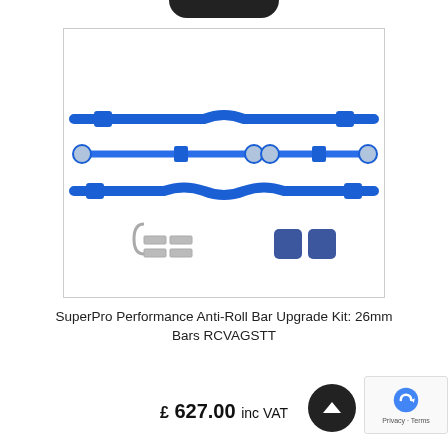[Figure (photo): SuperPro Performance Anti-Roll Bar Upgrade Kit showing two blue sway bars, two blue drop links with ball joints, mounting brackets, clamps, and rubber bushings arranged on a white background.]
SuperPro Performance Anti-Roll Bar Upgrade Kit: 26mm Bars RCVAGST T
£ 627.00 inc VAT